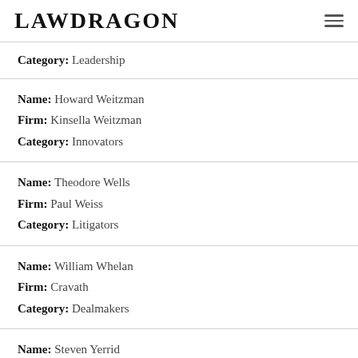LAWDRAGON
Category: Leadership
Name: Howard Weitzman
Firm: Kinsella Weitzman
Category: Innovators
Name: Theodore Wells
Firm: Paul Weiss
Category: Litigators
Name: William Whelan
Firm: Cravath
Category: Dealmakers
Name: Steven Yerrid
Firm: The Yerrid Firm
Category: Litigators